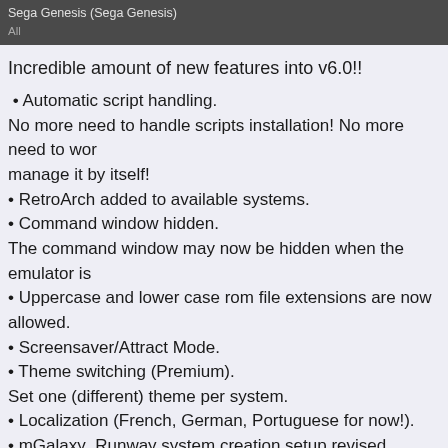Sega Genesis (Sega Genesis)
All
Incredible amount of new features into v6.0!!
• Automatic script handling.
No more need to handle scripts installation! No more need to worry, manage it by itself!
• RetroArch added to available systems.
• Command window hidden.
The command window may now be hidden when the emulator is
• Uppercase and lower case rom file extensions are now allowed.
• Screensaver/Attract Mode.
• Theme switching (Premium).
Set one (different) theme per system.
• Localization (French, German, Portuguese for now!).
• mGalaxy_Runway system creation setup revised.
You now drag and drop the system you need (as many instances a... to create 3 different MAME systems!)
• Systems window: filtering on arcade/computer/console.
• mGalaxy_Runway: box/marquee images support (for themes all
• Scroll speed setting.
Let you define the scrolling speed of the list when direction keys
• Pre-Launch settings.
Allows you to launch another application/script/document before
360!')